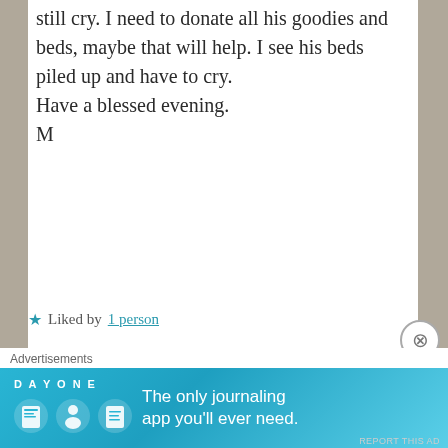still cry. I need to donate all his goodies and beds, maybe that will help. I see his beds piled up and have to cry.
Have a blessed evening.
M
★ Liked by 1 person
Reply
-Michelle Cook
APRIL 19, 2015 AT 8:53 PM
[Figure (photo): Circular avatar photo of a woman with brown hair resting her chin on her hands]
Advertisements
[Figure (screenshot): Day One journaling app advertisement banner. Blue background with app icons and text: 'The only journaling app you'll ever need.']